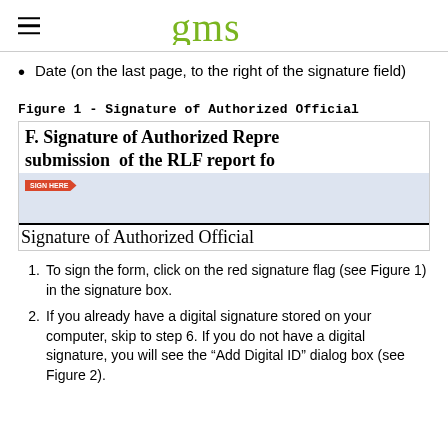gms
Date (on the last page, to the right of the signature field)
Figure 1 - Signature of Authorized Official
[Figure (screenshot): Screenshot of the signature section of an RLF report form showing 'F. Signature of Authorized Representative for submission of the RLF report fo...' header text, a blue signature box with a red signature flag, and a 'Signature of Authorized Official' label below a horizontal line.]
To sign the form, click on the red signature flag (see Figure 1) in the signature box.
If you already have a digital signature stored on your computer, skip to step 6. If you do not have a digital signature, you will see the "Add Digital ID" dialog box (see Figure 2).